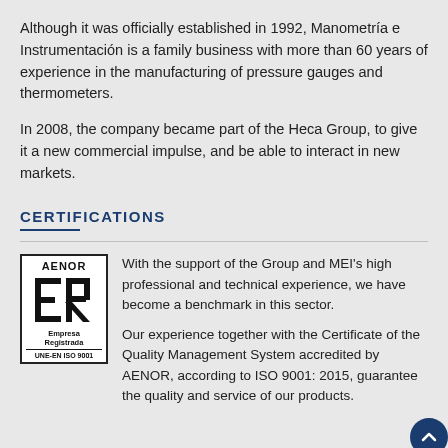Although it was officially established in 1992, Manometría e Instrumentación is a family business with more than 60 years of experience in the manufacturing of pressure gauges and thermometers.
In 2008, the company became part of the Heca Group, to give it a new commercial impulse, and be able to interact in new markets.
CERTIFICATIONS
[Figure (logo): AENOR Empresa Registrada UNE-EN ISO 9001 certification logo]
With the support of the Group and MEI's high professional and technical experience, we have become a benchmark in this sector.
Our experience together with the Certificate of the Quality Management System accredited by AENOR, according to ISO 9001: 2015, guarantee the quality and service of our products.